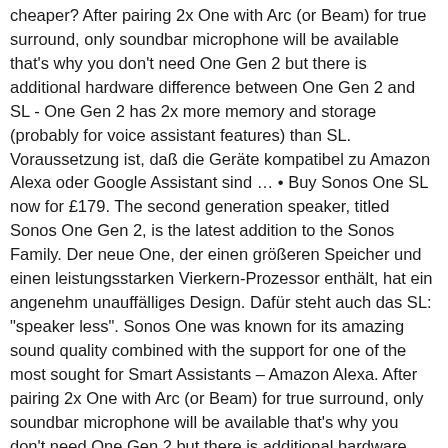cheaper? After pairing 2x One with Arc (or Beam) for true surround, only soundbar microphone will be available that's why you don't need One Gen 2 but there is additional hardware difference between One Gen 2 and SL - One Gen 2 has 2x more memory and storage (probably for voice assistant features) than SL. Voraussetzung ist, daß die Geräte kompatibel zu Amazon Alexa oder Google Assistant sind … • Buy Sonos One SL now for £179. The second generation speaker, titled Sonos One Gen 2, is the latest addition to the Sonos Family. Der neue One, der einen größeren Speicher und einen leistungsstarken Vierkern-Prozessor enthält, hat ein angenehm unauffälliges Design. Dafür steht auch das SL: "speaker less". Sonos One was known for its amazing sound quality combined with the support for one of the most sought for Smart Assistants – Amazon Alexa. After pairing 2x One with Arc (or Beam) for true surround, only soundbar microphone will be available that's why you don't need One Gen 2 but there is additional hardware difference between One Gen 2 and SL - One Gen 2 has 2x more memory and storage (probably for